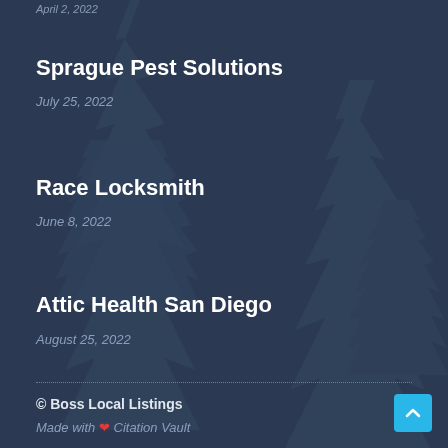April 2, 2022
Sprague Pest Solutions
July 25, 2022
Race Locksmith
June 8, 2022
Attic Health San Diego
August 25, 2022
© Boss Local Listings
Made with ❤ Citation Vault